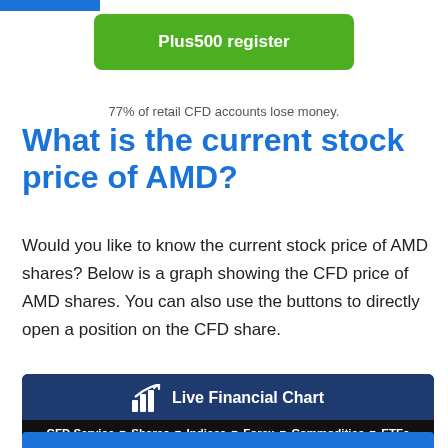[Figure (other): Blue horizontal bar at top left corner of page, partial navigation element]
[Figure (other): Green rounded rectangle button labeled 'Plus500 register']
77% of retail CFD accounts lose money.
What is the current stock price of AMD?
Would you like to know the current stock price of AMD shares? Below is a graph showing the CFD price of AMD shares. You can also use the buttons to directly open a position on the CFD share.
[Figure (other): Dark blue widget area with chart icon and text 'Live Financial Chart' on top, and black navigation bar with links: CFD Service, Shares, Indices, Forex, Commodities, ETFs]
[Figure (other): Blue search bar partially visible at bottom]